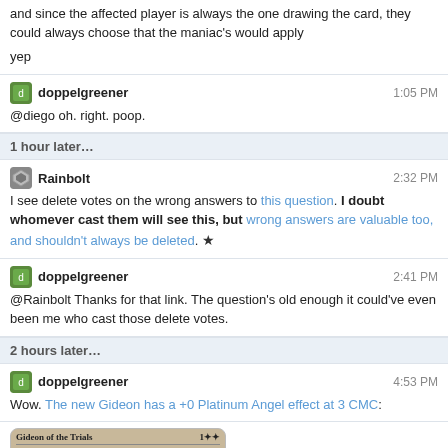and since the affected player is always the one drawing the card, they could always choose that the maniac's would apply
yep
doppelgreener   1:05 PM
@diego oh. right. poop.
1 hour later…
Rainbolt   2:32 PM
I see delete votes on the wrong answers to this question. I doubt whomever cast them will see this, but wrong answers are valuable too, and shouldn't always be deleted.
doppelgreener   2:41 PM
@Rainbolt Thanks for that link. The question's old enough it could've even been me who cast those delete votes.
2 hours later…
doppelgreener   4:53 PM
Wow. The new Gideon has a +0 Platinum Angel effect at 3 CMC:
[Figure (photo): Magic: The Gathering card image — Gideon of the Trials, a Planeswalker card showing an armored warrior figure]